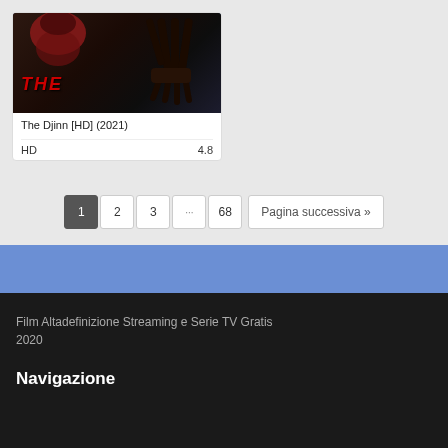[Figure (photo): Movie poster for The Djinn (2021) showing a hooded figure with dark clawed hands against a dark background with red text 'THE']
The Djinn [HD] (2021)
HD    4.8
1  2  3  ...  68  Pagina successiva »
Film Altadefinizione Streaming e Serie TV Gratis 2020
Navigazione